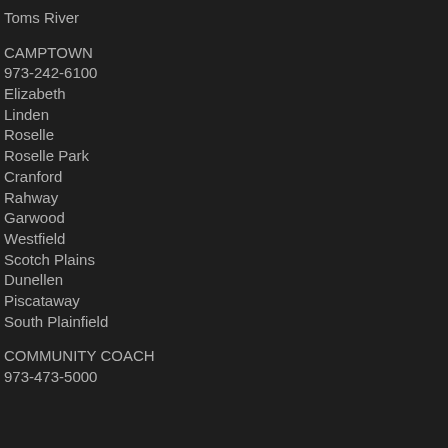Toms River
CAMPTOWN
973-242-6100
Elizabeth
Linden
Roselle
Roselle Park
Cranford
Rahway
Garwood
Westfield
Scotch Plains
Dunellen
Piscataway
South Plainfield
COMMUNITY COACH
973-473-5000